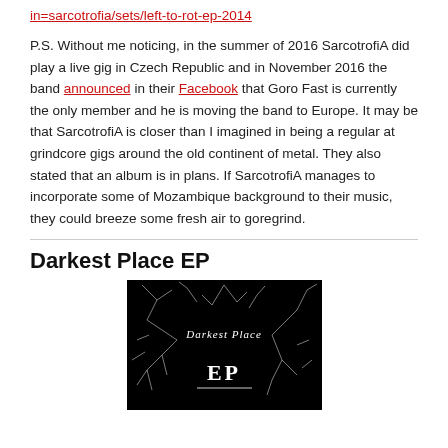in=sarcotrofia/sets/left-to-rot-ep-2014
P.S. Without me noticing, in the summer of 2016 SarcotrofiA did play a live gig in Czech Republic and in November 2016 the band announced in their Facebook that Goro Fast is currently the only member and he is moving the band to Europe. It may be that SarcotrofiA is closer than I imagined in being a regular at grindcore gigs around the old continent of metal. They also stated that an album is in plans. If SarcotrofiA manages to incorporate some of Mozambique background to their music, they could breeze some fresh air to goregrind.
Darkest Place EP
[Figure (photo): Album cover image for Darkest Place EP showing dark background with branch-like white lines and text 'Darkest Place EP']